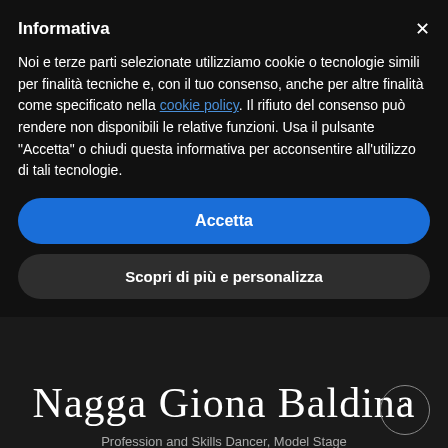Informativa
Noi e terze parti selezionate utilizziamo cookie o tecnologie simili per finalità tecniche e, con il tuo consenso, anche per altre finalità come specificato nella cookie policy. Il rifiuto del consenso può rendere non disponibili le relative funzioni. Usa il pulsante “Accetta” o chiudi questa informativa per acconsentire all'utilizzo di tali tecnologie.
Accetta
Scopri di più e personalizza
Nagga Giona Baldina
Profession and Skills Dancer, Model Stage
Experiences 2020 Soloist in “About
Senza… di Tanto, Corea... No... 15/06/2019